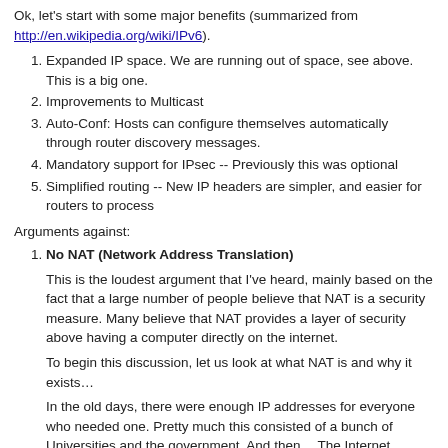Ok, let's start with some major benefits (summarized from http://en.wikipedia.org/wiki/IPv6).
Expanded IP space. We are running out of space, see above. This is a big one.
Improvements to Multicast
Auto-Conf: Hosts can configure themselves automatically through router discovery messages.
Mandatory support for IPsec -- Previously this was optional
Simplified routing -- New IP headers are simpler, and easier for routers to process
Arguments against:
No NAT (Network Address Translation)
This is the loudest argument that I've heard, mainly based on the fact that a large number of people believe that NAT is a security measure. Many believe that NAT provides a layer of security above having a computer directly on the internet.
To begin this discussion, let us look at what NAT is and why it exists…
In the old days, there were enough IP addresses for everyone who needed one. Pretty much this consisted of a bunch of Universities and the government. And then… The Internet happened (or the WorldWideWeb, or the Information Superhighway, call it what you like, I just remember it as I did